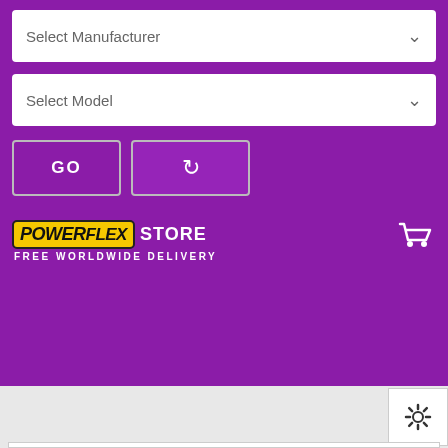Select Manufacturer
Select Model
GO
POWERFLEX STORE FREE WORLDWIDE DELIVERY
[Figure (screenshot): Powerflex Store website UI with manufacturer/model dropdowns, GO button, refresh button, Powerflex Store logo, cart icon, settings icon, and a BMW E32 7 Series (1988-1994) suspension diagram showing numbered bushings]
BMW E32 7 SERIES (1988 - 1994)